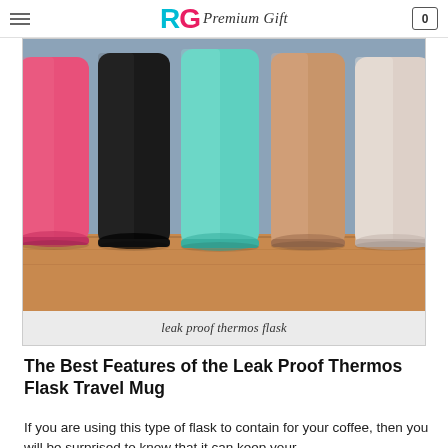RG Premium Gift
[Figure (photo): Five tall slim thermos flasks in different colors (pink, black, teal/mint, rose gold, light pink/beige) standing upright on a wooden surface with a blue background]
leak proof thermos flask
The Best Features of the Leak Proof Thermos Flask Travel Mug
If you are using this type of flask to contain for your coffee, then you will be surprised to know that it can keep your